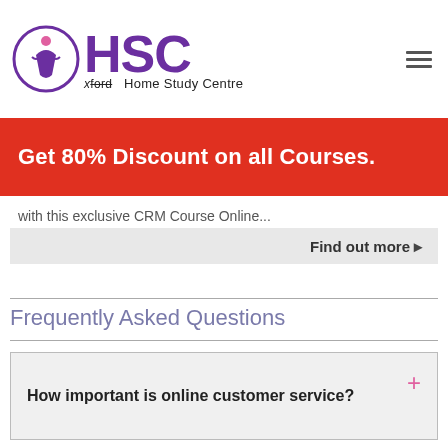HSC xford Home Study Centre
Get 80% Discount on all Courses.
with this exclusive CRM Course Online...
Find out more ▶
Frequently Asked Questions
How important is online customer service?